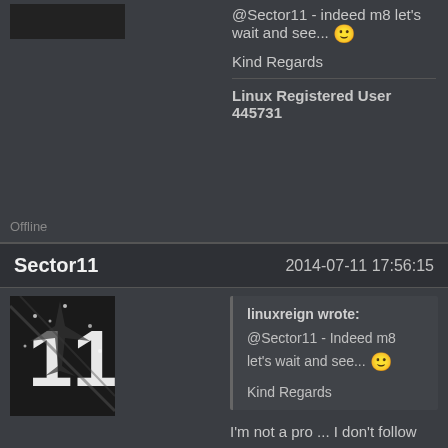@Sector11 - indeed m8 let's wait and see... Kind Regards
Linux Registered User 445731
Offline
Sector11  2014-07-11 17:56:15
linuxreign wrote: @Sector11 - Indeed m8 let's wait and see... Kind Regards
I'm not a pro ... I don't follow football ... but every "play off" (baseball, hockey, football, soccer {to make a difference} rugby) I'm in there If I can watch it.
A Cup of Surprises, the Netherlands, Costa Rica